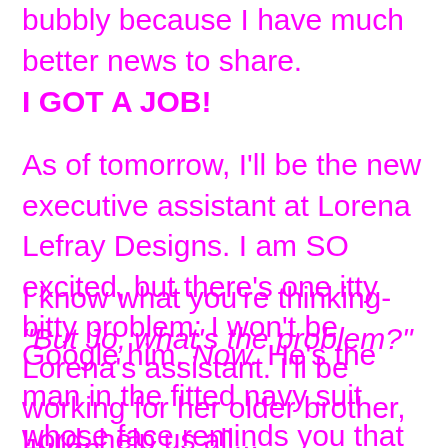...Well, put your pants back on and grab some bubbly because I have much better news to share.
I GOT A JOB!
As of tomorrow, I'll be the new executive assistant at Lorena Lefray Designs. I am SO excited, but there's one itty bitty problem: I won't be Lorena's assistant. I'll be working for her older brother, Julian.
I know what you're thinking- "But Jo, what's the problem?"
Google him. Now. He's the man in the fitted navy suit whose face reminds you that there's hope yet for this cruel, ugly world. Keep scrolling...Do you see those dimples? Yup. That's the Julian Lefray I will be reporting to tomorrow morning.
Lord, help us all...